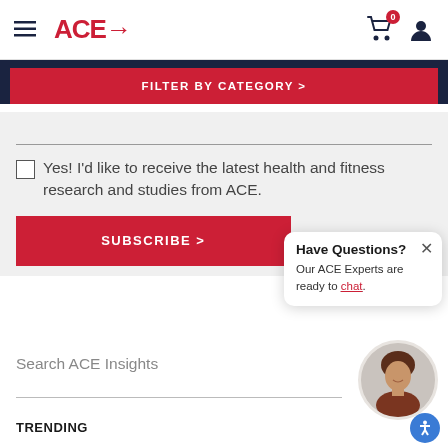ACE→
FILTER BY CATEGORY >
Yes! I'd like to receive the latest health and fitness research and studies from ACE.
SUBSCRIBE >
Have Questions? Our ACE Experts are ready to chat.
Search ACE Insights
TRENDING